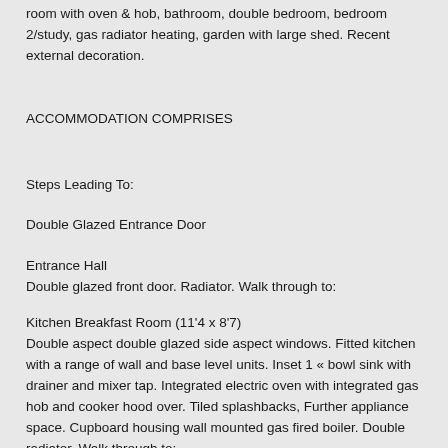room with oven & hob, bathroom, double bedroom, bedroom 2/study, gas radiator heating, garden with large shed. Recent external decoration.
ACCOMMODATION COMPRISES
Steps Leading To:
Double Glazed Entrance Door
Entrance Hall
Double glazed front door. Radiator. Walk through to:
Kitchen Breakfast Room (11'4 x 8'7)
Double aspect double glazed side aspect windows. Fitted kitchen with a range of wall and base level units. Inset 1 « bowl sink with drainer and mixer tap. Integrated electric oven with integrated gas hob and cooker hood over. Tiled splashbacks, Further appliance space. Cupboard housing wall mounted gas fired boiler. Double radiator. Walk through to:
Lounge (13'3 x 11'4)
Double glazed double aspect windows. Radiator. Television point. Full width range storage cupboards. Gas fire. Double radiator.